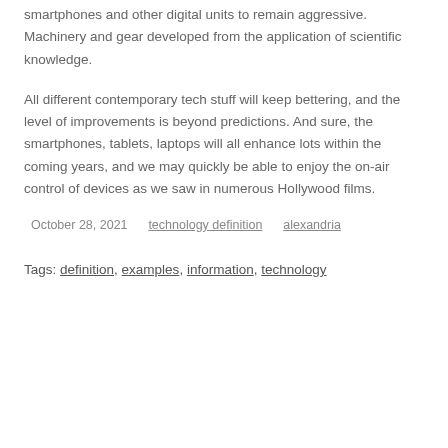smartphones and other digital units to remain aggressive. Machinery and gear developed from the application of scientific knowledge.
All different contemporary tech stuff will keep bettering, and the level of improvements is beyond predictions. And sure, the smartphones, tablets, laptops will all enhance lots within the coming years, and we may quickly be able to enjoy the on-air control of devices as we saw in numerous Hollywood films.
October 28, 2021    technology definition    alexandria
Tags: definition, examples, information, technology